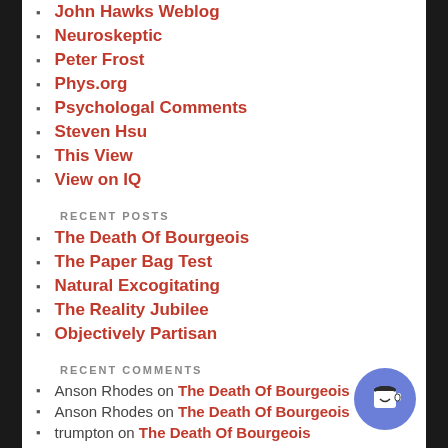John Hawks Weblog
Neuroskeptic
Peter Frost
Phys.org
Psychologal Comments
Steven Hsu
This View
View on IQ
RECENT POSTS
The Death Of Bourgeois
The Paper Bag Test
Natural Excogitating
The Reality Jubilee
Objectively Partisan
RECENT COMMENTS
Anson Rhodes on The Death Of Bourgeois
Anson Rhodes on The Death Of Bourgeois
trumpton on The Death Of Bourgeois
trumpton on The Death Of Bourgeois